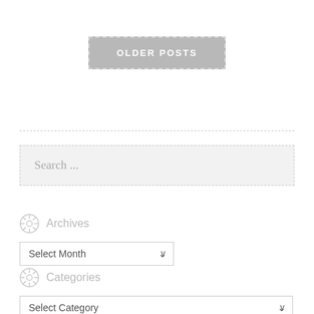[Figure (other): OLDER POSTS button with dashed border on grey background]
[Figure (other): Search input box with placeholder text 'Search ...']
Archives
[Figure (other): Select Month dropdown]
Categories
[Figure (other): Select Category dropdown]